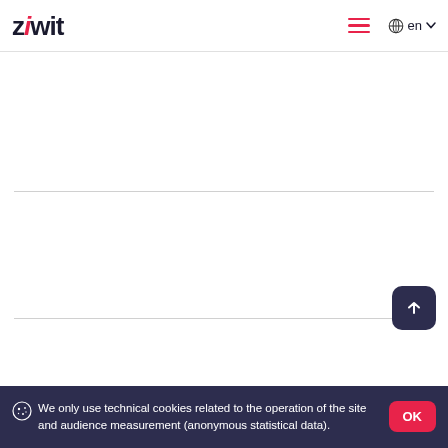ziwit — en
We only use technical cookies related to the operation of the site and audience measurement (anonymous statistical data).